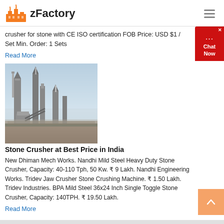zFactory
crusher for stone with CE ISO certification FOB Price: USD $1 / Set Min. Order: 1 Sets
Read More
[Figure (photo): Industrial stone crushing plant with tall silos and machinery against a hazy sky]
Stone Crusher at Best Price in India
New Dhiman Mech Works. Nandhi Mild Steel Heavy Duty Stone Crusher, Capacity: 40-110 Tph, 50 Kw. ₹ 9 Lakh. Nandhi Engineering Works. Tridev Jaw Crusher Stone Crushing Machine. ₹ 1.50 Lakh. Tridev Industries. BPA Mild Steel 36x24 Inch Single Toggle Stone Crusher, Capacity: 140TPH. ₹ 19.50 Lakh.
Read More